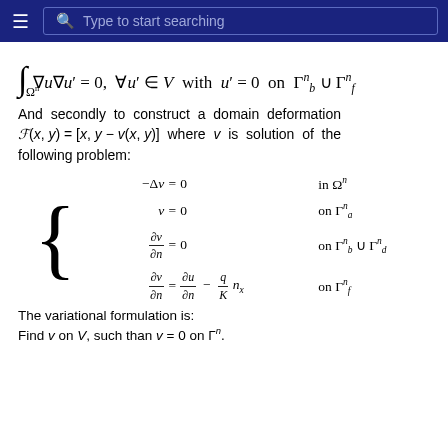Type to start searching
And secondly to construct a domain deformation F(x,y) = [x, y - v(x,y)] where v is solution of the following problem:
The variational formulation is:
Find v on V, such than v = 0 on Γⁿ.